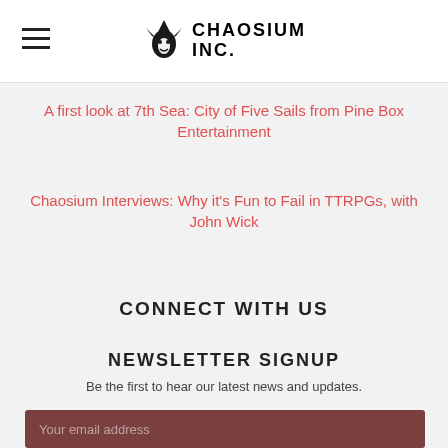Chaosium Inc.
A first look at 7th Sea: City of Five Sails from Pine Box Entertainment
Chaosium Interviews: Why it’s Fun to Fail in TTRPGs, with John Wick
CONNECT WITH US
NEWSLETTER SIGNUP
Be the first to hear our latest news and updates.
Your email address
SUBMIT